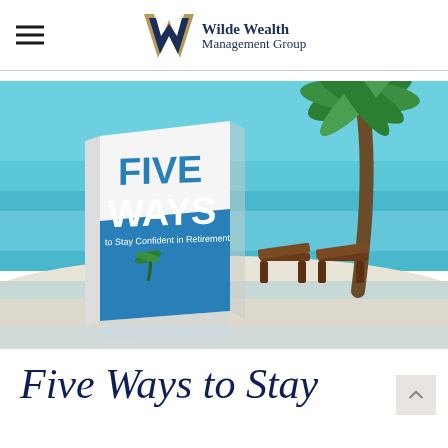Wilde Wealth Management Group
[Figure (illustration): Book cover titled 'FIVE WAYS to Stay Confident in Retirement' displayed in front of a tropical beach scene with turquoise water, white sand, two wooden lounge chairs, and a palm tree. The book cover features bold blue text 'FIVE WAYS' and smaller text below.]
Five Ways to Stay